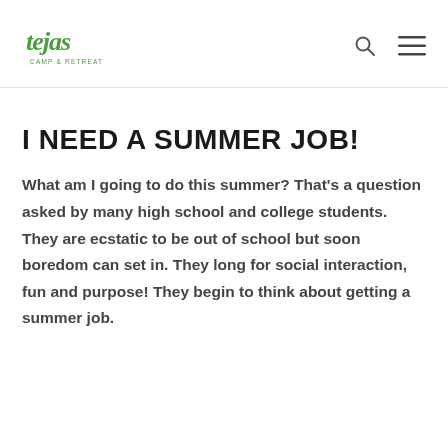[Figure (logo): Tejas brand logo in green cursive script]
I NEED A SUMMER JOB!
What am I going to do this summer? That's a question asked by many high school and college students. They are ecstatic to be out of school but soon boredom can set in. They long for social interaction, fun and purpose! They begin to think about getting a summer job.